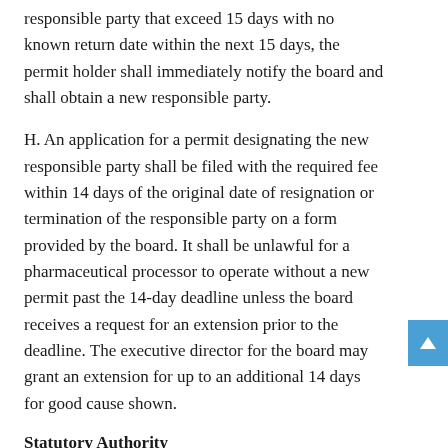responsible party that exceed 15 days with no known return date within the next 15 days, the permit holder shall immediately notify the board and shall obtain a new responsible party.
H. An application for a permit designating the new responsible party shall be filed with the required fee within 14 days of the original date of resignation or termination of the responsible party on a form provided by the board. It shall be unlawful for a pharmaceutical processor to operate without a new permit past the 14-day deadline unless the board receives a request for an extension prior to the deadline. The executive director for the board may grant an extension for up to an additional 14 days for good cause shown.
Statutory Authority
§§ 54.1-3442.6 and 54.1-3447 of the Code of Virginia.
Historical Notes
Derived from Virginia Register Volume 37, Issue 25, eff. September 1, 2021.